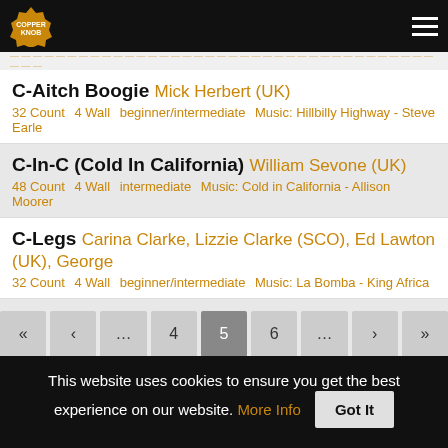Copperknob line dance database navigation header
C-Aitch Boogie  Mick Herbert (UK)
32 Count  4 Wall  beginner/intermediate  Music: Hillbilly Highway - Steve Earle
C-In-C (Cold In California)  William Sevone (UK)
48 Count  4 Wall  intermediate  Music: Cold in California - Allison Moorer
C-Legs  Carina Clarke, Lizzie Clarke (SCO), Ed Lawton (UK), George
32 Count  4 Wall  beginner/intermediate  Music: La Bomba - King Africa
« ‹ ... 4 5 6 ... › »
413 Pages Total
This website uses cookies to ensure you get the best experience on our website.  More Info  Got It